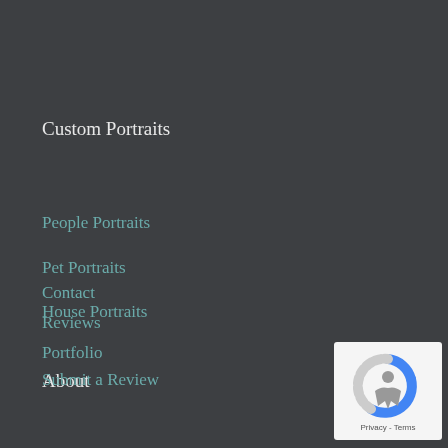Custom Portraits
People Portraits
Pet Portraits
House Portraits
About
Contact
Reviews
Portfolio
Submit a Review
[Figure (logo): Google reCAPTCHA badge with robot/accessibility icon and Privacy - Terms text]